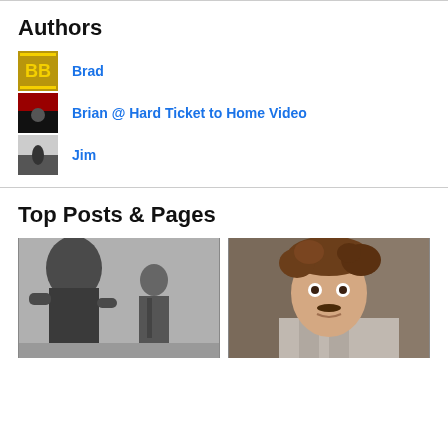Authors
Brad
Brian @ Hard Ticket to Home Video
Jim
Top Posts & Pages
[Figure (photo): Black and white photo of a monster (Godzilla-like creature) standing next to a man in a suit, smiling]
[Figure (photo): Color photo of a young man with disheveled brown hair and a small mustache, wide-eyed expression, wearing a striped shirt]